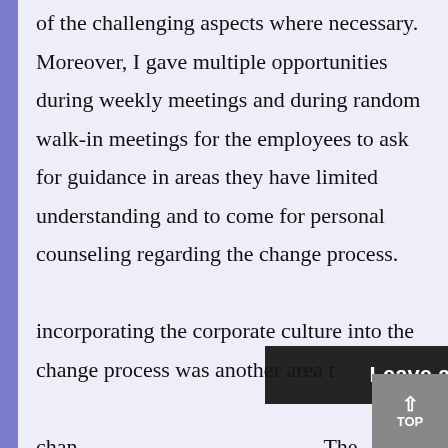of the challenging aspects where necessary. Moreover, I gave multiple opportunities during weekly meetings and during random walk-in meetings for the employees to ask for guidance in areas they have limited understanding and to come for personal counseling regarding the change process.

incorporating the corporate culture into the change process was another area that …the change… The